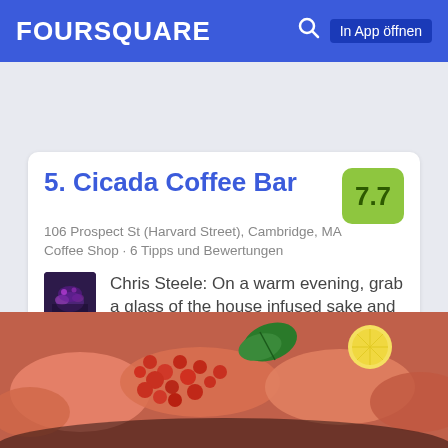FOURSQUARE  In App öffnen
5. Cicada Coffee Bar
106 Prospect St (Harvard Street), Cambridge, MA
Coffee Shop · 6 Tipps und Bewertungen
Chris Steele: On a warm evening, grab a glass of the house infused sake and graze the various fresh Vietnamese options on the menu. Everything we tried was outstanding.
[Figure (photo): Food photo showing salmon sashimi with salmon roe (ikura), green herbs, and lemon slices on a dark plate]